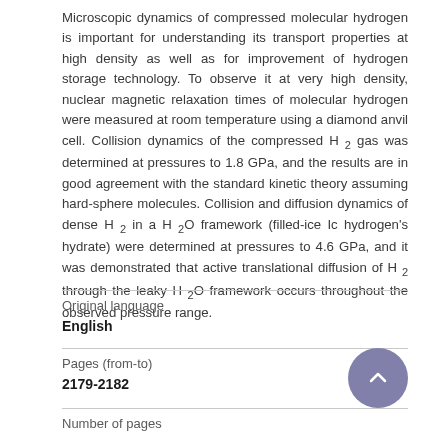Microscopic dynamics of compressed molecular hydrogen is important for understanding its transport properties at high density as well as for improvement of hydrogen storage technology. To observe it at very high density, nuclear magnetic relaxation times of molecular hydrogen were measured at room temperature using a diamond anvil cell. Collision dynamics of the compressed H₂ gas was determined at pressures to 1.8 GPa, and the results are in good agreement with the standard kinetic theory assuming hard-sphere molecules. Collision and diffusion dynamics of dense H₂ in a H₂O framework (filled-ice Ic hydrogen's hydrate) were determined at pressures to 4.6 GPa, and it was demonstrated that active translational diffusion of H₂ through the leaky H₂O framework occurs throughout the observed pressure range.
| Field | Value |
| --- | --- |
| Original language | English |
| Pages (from-to) | 2179-2182 |
| Number of pages |  |